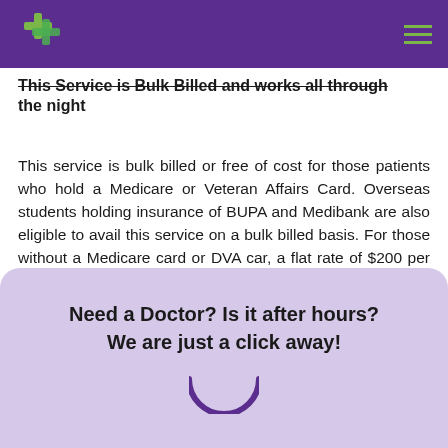This Service is Bulk Billed and works all through the night
This service is bulk billed or free of cost for those patients who hold a Medicare or Veteran Affairs Card. Overseas students holding insurance of BUPA and Medibank are also eligible to avail this service on a bulk billed basis. For those without a Medicare card or DVA car, a flat rate of $200 per every booking is required at the time of booking a visit with our call centre.
Need a Doctor? Is it after hours? We are just a click away!